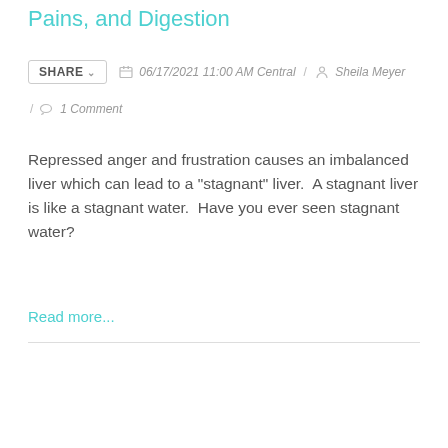Pains, and Digestion
SHARE  06/17/2021 11:00 AM Central / Sheila Meyer
/ 1 Comment
Repressed anger and frustration causes an imbalanced liver which can lead to a "stagnant" liver.  A stagnant liver is like a stagnant water.  Have you ever seen stagnant water?
Read more...